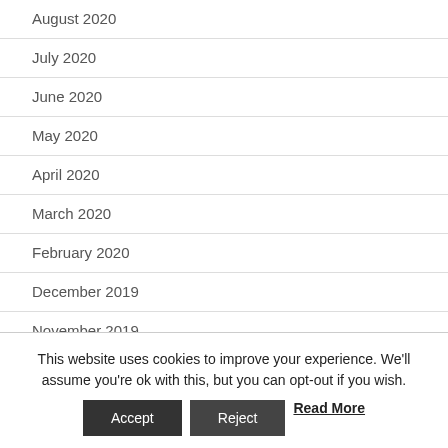August 2020
July 2020
June 2020
May 2020
April 2020
March 2020
February 2020
December 2019
November 2019
September 2019
This website uses cookies to improve your experience. We'll assume you're ok with this, but you can opt-out if you wish.